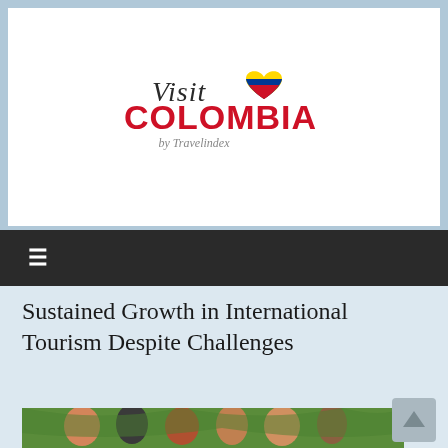[Figure (logo): Visit Colombia by Travelindex logo — cursive 'Visit' text with a heart shape in Colombian flag colors (yellow, blue, red) and bold red 'COLOMBIA' text with italic gray 'by Travelindex' subtitle]
Sustained Growth in International Tourism Despite Challenges
[Figure (photo): Group of tourists outdoors in a green tropical setting, smiling and making peace signs]